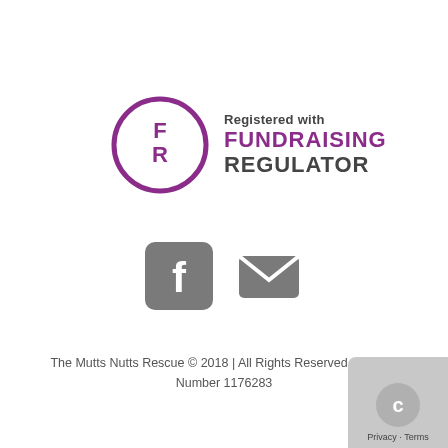[Figure (logo): Fundraising Regulator logo: a circle with FR letters in purple, with text 'Registered with FUNDRAISING REGULATOR']
[Figure (illustration): Two gray social media icons: a Facebook icon and an email/envelope icon]
The Mutts Nutts Rescue © 2018 | All Rights Reserved | Charity Number 1176283
[Figure (other): Google reCAPTCHA badge with Privacy - Terms text]